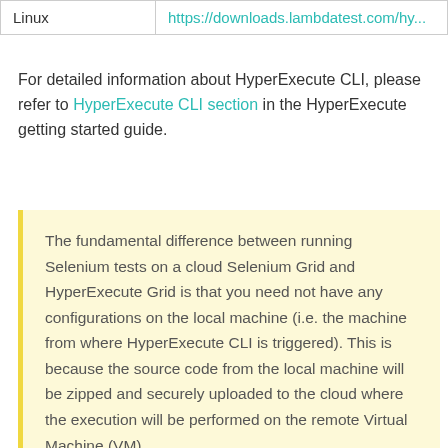|  |  |
| --- | --- |
| Linux | https://downloads.lambdatest.com/hy... |
For detailed information about HyperExecute CLI, please refer to HyperExecute CLI section in the HyperExecute getting started guide.
The fundamental difference between running Selenium tests on a cloud Selenium Grid and HyperExecute Grid is that you need not have any configurations on the local machine (i.e. the machine from where HyperExecute CLI is triggered). This is because the source code from the local machine will be zipped and securely uploaded to the cloud where the execution will be performed on the remote Virtual Machine (VM).